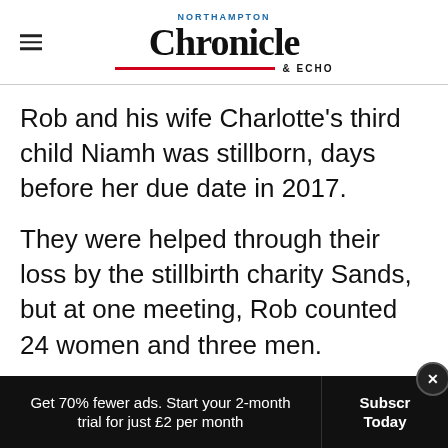Northampton Chronicle & Echo
Rob and his wife Charlotte's third child Niamh was stillborn, days before her due date in 2017.
They were helped through their loss by the stillbirth charity Sands, but at one meeting, Rob counted 24 women and three men.
Get 70% fewer ads. Start your 2-month trial for just £2 per month  Subscribe Today  ×